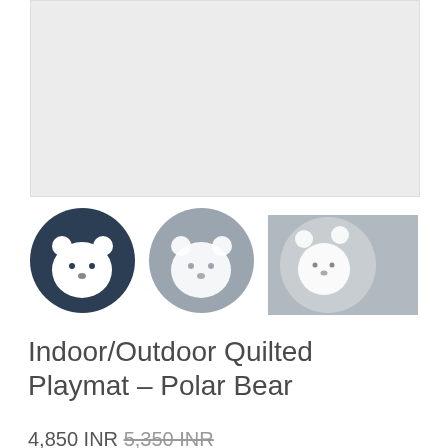[Figure (photo): Main product image area - large light grey rectangle placeholder for quilted playmat polar bear product]
[Figure (photo): Thumbnail 1: Circular polar bear playmat on dark navy background showing white cartoon polar bear face]
[Figure (photo): Thumbnail 2: Circular polar bear playmat on medium grey background showing white cartoon polar bear face]
[Figure (photo): Thumbnail 3: Square cropped photo showing polar bear playmat in use, light grey tones]
Indoor/Outdoor Quilted Playmat – Polar Bear
4,850 INR 5,350 INR